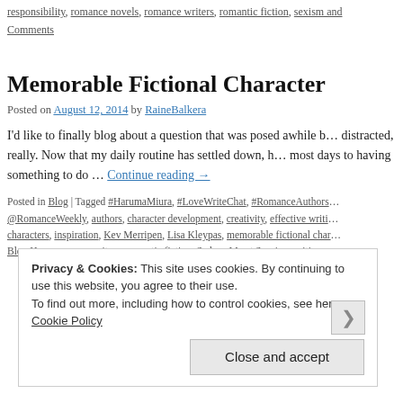responsibility, romance novels, romance writers, romantic fiction, sexism and… Comments
Memorable Fictional Character
Posted on August 12, 2014 by RaineBalkera
I'd like to finally blog about a question that was posed awhile b… distracted, really. Now that my daily routine has settled down, h… most days to having something to do … Continue reading →
Posted in Blog | Tagged #HarumaMiura, #LoveWriteChat, #RomanceAuthors… @RomanceWeekly, authors, character development, creativity, effective writi… characters, inspiration, Kev Merripen, Lisa Kleypas, memorable fictional char… Blog Hop, romance writers, romantic fiction, Seduce Me at Sunrise, writing, w…
Privacy & Cookies: This site uses cookies. By continuing to use this website, you agree to their use. To find out more, including how to control cookies, see here: Cookie Policy Close and accept